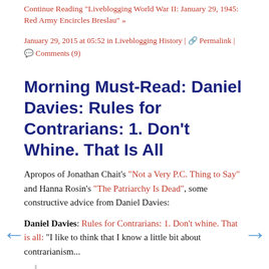Continue Reading "Liveblogging World War II: January 29, 1945: Red Army Encircles Breslau" »
January 29, 2015 at 05:52 in Liveblogging History | Permalink | Comments (9)
Morning Must-Read: Daniel Davies: Rules for Contrarians: 1. Don't Whine. That Is All
Apropos of Jonathan Chait's "Not a Very P.C. Thing to Say" and Hanna Rosin's "The Patriarchy Is Dead", some constructive advice from Daniel Davies:
Daniel Davies: Rules for Contrarians: 1. Don't whine. That is all: "I like to think that I know a little bit about contrarianism...
...So I'm disturbed to see that people who are making roughly infinity more money than me out of the practice aren't sticking to the unwritten rules of the game.... The whole idea of contrarianism is that you're... setting out to annoy people.... If annoying people is what you're trying to do, then you can hardly complain when annoying people is what you actually do. If you start a fight, you